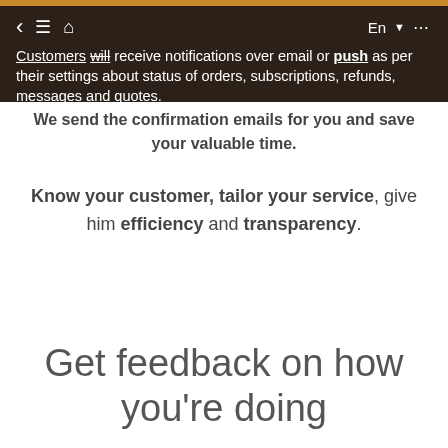Customers will receive notifications over email or push as per their settings about status of orders, subscriptions, refunds, messages and quotes.
We send the confirmation emails for you and save your valuable time.
Know your customer, tailor your service, give him efficiency and transparency.
Get feedback on how you're doing